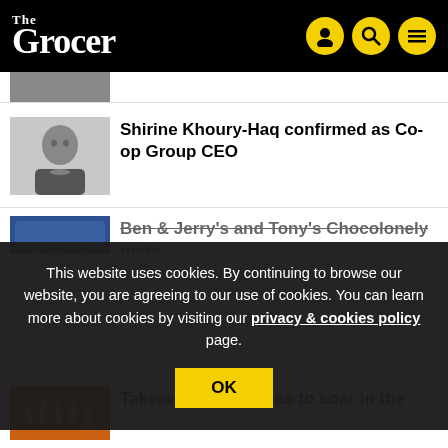The Grocer
[Figure (photo): Partial cropped image at top, mostly cut off, showing a hand]
Shirine Khoury-Haq confirmed as Co-op Group CEO
[Figure (photo): Headshot of Shirine Khoury-Haq, woman with short hair in dark top]
Ben & Jerry's and Tony's Chocolonely unite
[Figure (photo): Ben & Jerry's and Tony's Chocolonely product image]
This website uses cookies. By continuing to browse our website, you are agreeing to our use of cookies. You can learn more about cookies by visiting our privacy & cookies policy page.
OK
Takeaway chip prices to soar in the
[Figure (photo): Image of chips/fries]